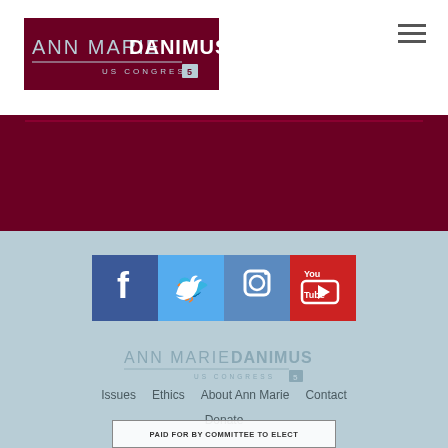[Figure (logo): Ann Marie Danimus US Congress 5 logo in header, white text on dark background]
[Figure (other): Hamburger menu icon (three horizontal lines) in top right corner]
[Figure (other): Social media icons row: Facebook (blue), Twitter (light blue), Instagram (steel blue), YouTube (red)]
[Figure (logo): Ann Marie Danimus US Congress 5 footer logo in light blue/grey tones]
Issues
Ethics
About Ann Marie
Contact
Donate
PAID FOR BY COMMITTEE TO ELECT